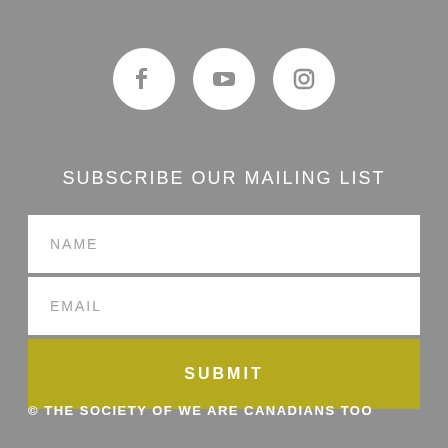[Figure (illustration): Three white circular social media icons for Facebook, YouTube, and Instagram on a grey background.]
SUBSCRIBE OUR MAILING LIST
NAME
EMAIL
SUBMIT
© THE SOCIETY OF WE ARE CANADIANS TOO